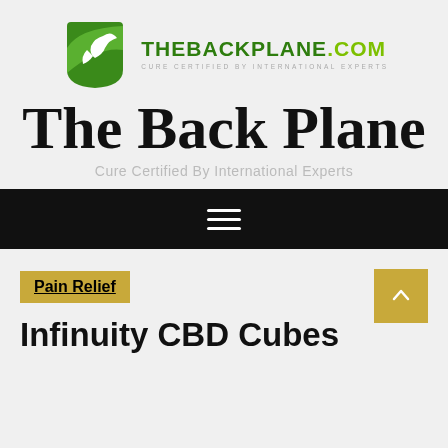[Figure (logo): TheBackPlane.com logo with green leaf icon and text]
The Back Plane
Cure Certified By International Experts
Navigation bar with hamburger menu icon
Pain Relief
Infinity CBD Cubes